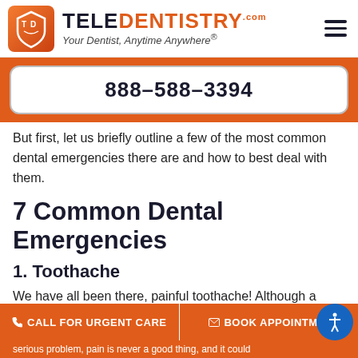TELEDENTISTRY.com — Your Dentist, Anytime Anywhere®
888-588-3394
But first, let us briefly outline a few of the most common dental emergencies there are and how to best deal with them.
7 Common Dental Emergencies
1. Toothache
We have all been there, painful toothache! Although a
CALL FOR URGENT CARE   BOOK APPOINTMENT
serious problem, pain is never a good thing, and it could